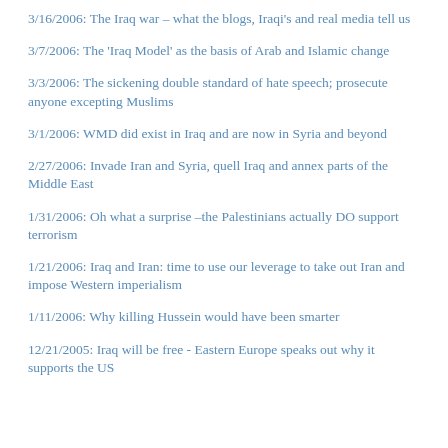3/16/2006:  The Iraq war – what the blogs, Iraqi's and real media tell us
3/7/2006:  The 'Iraq Model' as the basis of Arab and Islamic change
3/3/2006:  The sickening double standard of hate speech; prosecute anyone excepting Muslims
3/1/2006:  WMD did exist in Iraq and are now in Syria and beyond
2/27/2006:  Invade Iran and Syria, quell Iraq and annex parts of the Middle East
1/31/2006:  Oh what a surprise –the Palestinians actually DO support terrorism
1/21/2006:  Iraq and Iran: time to use our leverage to take out Iran and impose Western imperialism
1/11/2006:  Why killing Hussein would have been smarter
12/21/2005:  Iraq will be free - Eastern Europe speaks out why it supports the US